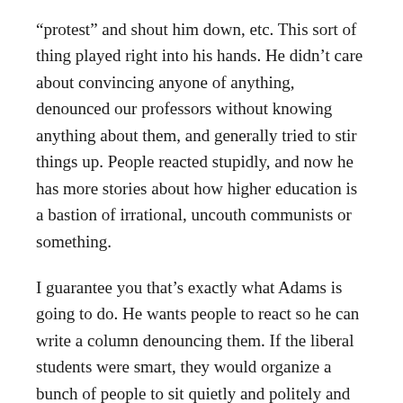“protest” and shout him down, etc. This sort of thing played right into his hands. He didn’t care about convincing anyone of anything, denounced our professors without knowing anything about them, and generally tried to stir things up. People reacted stupidly, and now he has more stories about how higher education is a bastion of irrational, uncouth communists or something.
I guarantee you that’s exactly what Adams is going to do. He wants people to react so he can write a column denouncing them. If the liberal students were smart, they would organize a bunch of people to sit quietly and politely and then, while remaining calm, ask tough questions. Yelling and making a scene is the easy way out, and doesn’t accomplish anything.